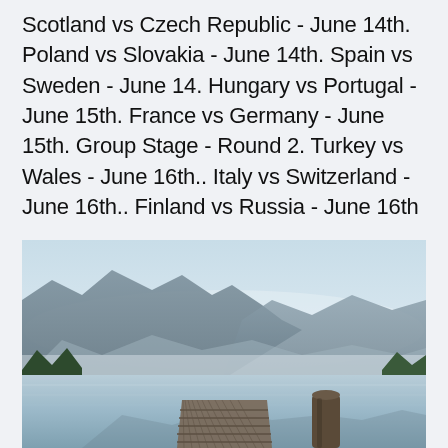Scotland vs Czech Republic - June 14th. Poland vs Slovakia - June 14th. Spain vs Sweden - June 14. Hungary vs Portugal - June 15th. France vs Germany - June 15th. Group Stage - Round 2. Turkey vs Wales - June 16th.. Italy vs Switzerland - June 16th.. Finland vs Russia - June 16th
[Figure (photo): A scenic lake and mountain landscape with a wooden dock in the foreground, calm reflective water, forested hills, and misty mountains in the background under a light blue sky.]